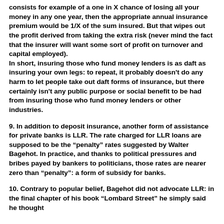consists for example of a one in X chance of losing all your money in any one year, then the appropriate annual insurance premium would be 1/X of the sum insured. But that wipes out the profit derived from taking the extra risk (never mind the fact that the insurer will want some sort of profit on turnover and capital employed).
In short, insuring those who fund money lenders is as daft as insuring your own legs: to repeat, it probably doesn't do any harm to let people take out daft forms of insurance, but there certainly isn't any public purpose or social benefit to be had from insuring those who fund money lenders or other industries.
9. In addition to deposit insurance, another form of assistance for private banks is LLR. The rate charged for LLR loans are supposed to be the “penalty” rates suggested by Walter Bagehot. In practice, and thanks to political pressures and bribes payed by bankers to politicians, those rates are nearer zero than “penalty”: a form of subsidy for banks.
10. Contrary to popular belief, Bagehot did not advocate LLR: in the final chapter of his book “Lombard Street” he simply said he thought